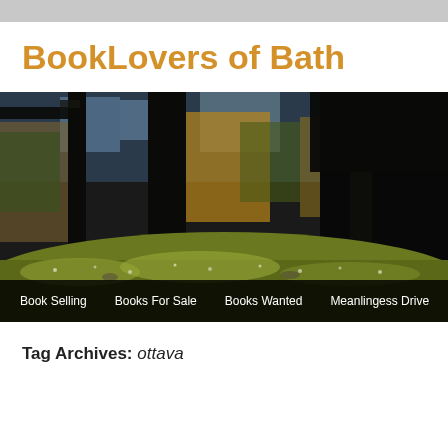BookLovers of Bath
[Figure (photo): Forest scene with tall dark tree trunks, moss-covered ground in warm sunlight, golden and green foliage in background. Navigation bar at bottom with links: Book Selling, Books For Sale, Books Wanted, Meanlingess Drive]
Tag Archives: ottava